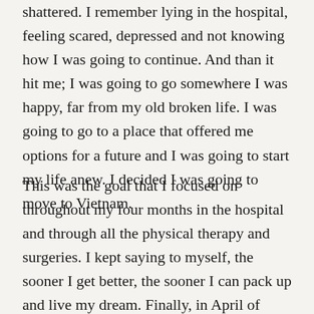shattered. I remember lying in the hospital, feeling scared, depressed and not knowing how I was going to continue. And than it hit me; I was going to go somewhere I was happy, far from my old broken life. I was going to go to a place that offered me options for a future and I was going to start my life anew. I decided I was going to move to Vietnam.
This was the goal that I focused on throughout my four months in the hospital and through all the physical therapy and surgeries. I kept saying to myself, the sooner I get better, the sooner I can pack up and live my dream. Finally, in April of 2013, I arrived at my new home in Hanoi, Vietnam and I can't remember ever being happier.